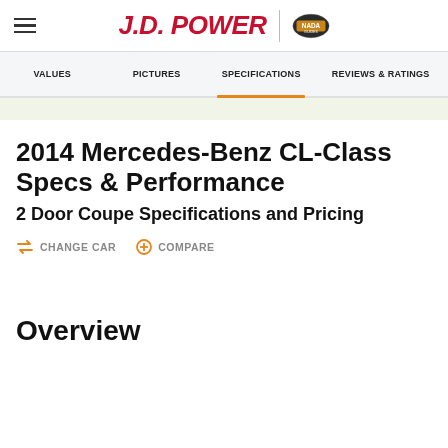J.D. POWER | NADA Guides
VALUES | PICTURES | SPECIFICATIONS | REVIEWS & RATINGS
2014 Mercedes-Benz CL-Class Specs & Performance
2 Door Coupe Specifications and Pricing
CHANGE CAR   COMPARE
Overview